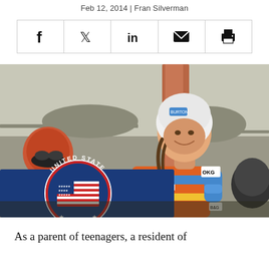Feb 12, 2014 | Fran Silverman
[Figure (other): Social sharing bar with icons for Facebook, Twitter, LinkedIn, Email, and Print]
[Figure (photo): A young female luge athlete in orange and blue competition suit and white helmet, smiling and holding a United States flag, with another person in background wearing a helmet.]
As a parent of teenagers, a resident of